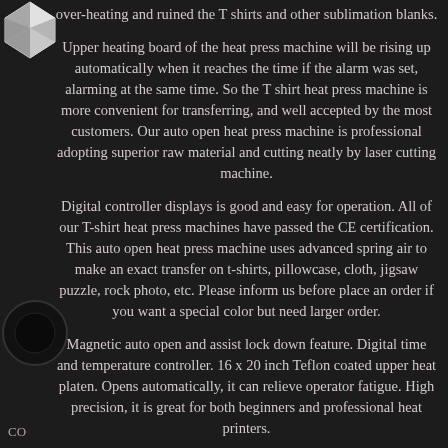over-heating and ruined the T shirts and other sublimation blanks.
Upper heating board of the heat press machine will be rising up automatically when it reaches the time if the alarm was set, alarming at the same time. So the T shirt heat press machine is more convenient for transferring, and well accepted by the most customers. Our auto open heat press machine is professional adopting superior raw material and cutting neatly by laser cutting machine.
Digital controller displays is good and easy for operation. All of our T-shirt heat press machines have passed the CE certification. This auto open heat press machine uses advanced spring air to make an exact transfer on t-shirts, pillowcase, cloth, jigsaw puzzle, rock photo, etc. Please inform us before place an order if you want a special color but need larger order.
Magnetic auto open and assist lock down feature. Digital time and temperature controller. 16 x 20 inch Teflon coated upper heat platen. Opens automatically, it can relieve operator fatigue. High precision, it is great for both beginners and professional heat printers.